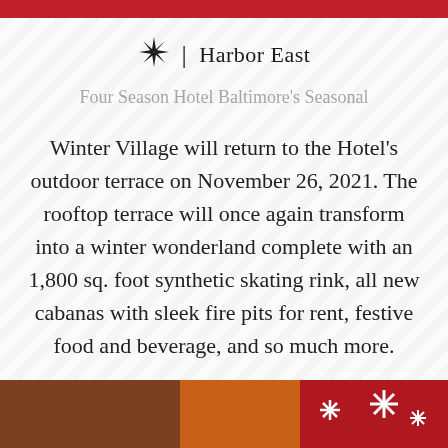Harbor East
Four Season Hotel Baltimore's Seasonal Winter Village will return to the Hotel's outdoor terrace on November 26, 2021. The rooftop terrace will once again transform into a winter wonderland complete with an 1,800 sq. foot synthetic skating rink, all new cabanas with sleek fire pits for rent, festive food and beverage, and so much more.
LEARN MORE
[Figure (photo): Bottom strip showing festive/winter village photos]